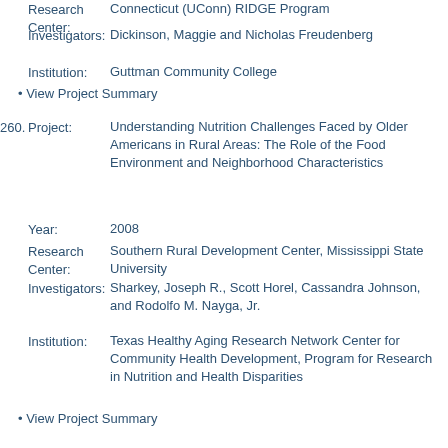Research Center: Connecticut (UConn) RIDGE Program
Investigators: Dickinson, Maggie and Nicholas Freudenberg
Institution: Guttman Community College
• View Project Summary
260. Project: Understanding Nutrition Challenges Faced by Older Americans in Rural Areas: The Role of the Food Environment and Neighborhood Characteristics
Year: 2008
Research Center: Southern Rural Development Center, Mississippi State University
Investigators: Sharkey, Joseph R., Scott Horel, Cassandra Johnson, and Rodolfo M. Nayga, Jr.
Institution: Texas Healthy Aging Research Network Center for Community Health Development, Program for Research in Nutrition and Health Disparities
• View Project Summary